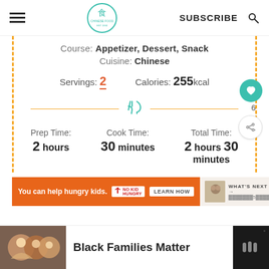SUBSCRIBE
Course: Appetizer, Dessert, Snack
Cuisine: Chinese
Servings: 2   Calories: 255kcal
Prep Time: 2 hours   Cook Time: 30 minutes   Total Time: 2 hours 30 minutes
[Figure (other): Advertisement banner: You can help hungry kids. NO KID HUNGRY. LEARN HOW. WHAT'S NEXT arrow.]
[Figure (other): Advertisement banner at bottom: Black Families Matter with a photo of a smiling family.]